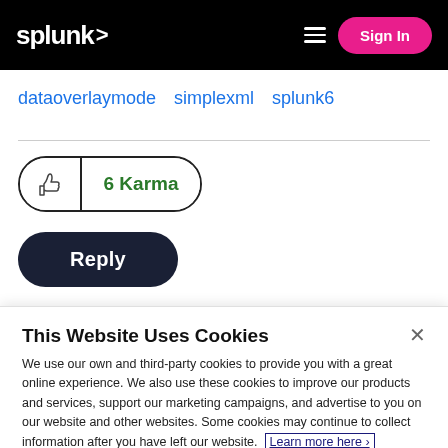splunk> Sign In
dataoverlaymode
simplexml
splunk6
6 Karma
Reply
This Website Uses Cookies
We use our own and third-party cookies to provide you with a great online experience. We also use these cookies to improve our products and services, support our marketing campaigns, and advertise to you on our website and other websites. Some cookies may continue to collect information after you have left our website. Learn more here ›
Accept Cookies
Cookies Settings ›